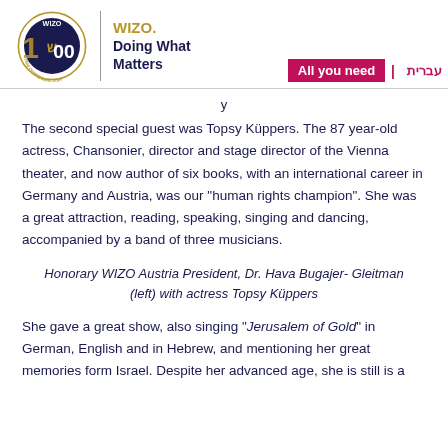WIZO. Doing What Matters | All you need | עברית
The second special guest was Topsy Küppers. The 87 year-old actress, Chansonier, director and stage director of the Vienna theater, and now author of six books, with an international career in Germany and Austria, was our "human rights champion". She was a great attraction, reading, speaking, singing and dancing, accompanied by a band of three musicians.
Honorary WIZO Austria President, Dr. Hava Bugajer- Gleitman (left) with actress Topsy Küppers
She gave a great show, also singing "Jerusalem of Gold" in German, English and in Hebrew, and mentioning her great memories form Israel. Despite her advanced age, she is still is a